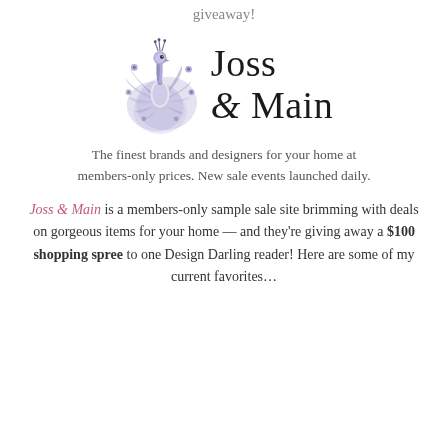giveaway!
[Figure (logo): Joss & Main logo with illustrated blue/purple peacock on the left and stylized serif text 'Joss & Main' on the right]
The finest brands and designers for your home at members-only prices. New sale events launched daily.
Joss & Main is a members-only sample sale site brimming with deals on gorgeous items for your home — and they're giving away a $100 shopping spree to one Design Darling reader! Here are some of my current favorites…